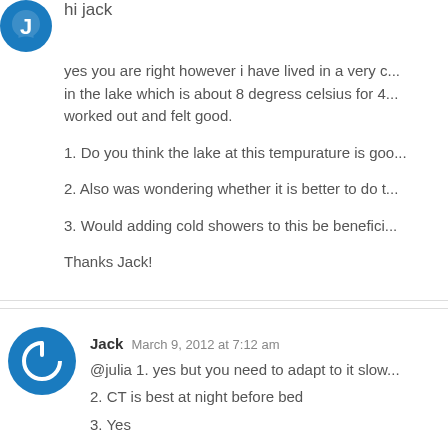hi jack
yes you are right however i have lived in a very c... in the lake which is about 8 degress celsius for 4... worked out and felt good.
1. Do you think the lake at this tempurature is goo...
2. Also was wondering whether it is better to do t...
3. Would adding cold showers to this be benefici...
Thanks Jack!
Jack  March 9, 2012 at 7:12 am
@julia 1. yes but you need to adapt to it slow...
2. CT is best at night before bed
3. Yes